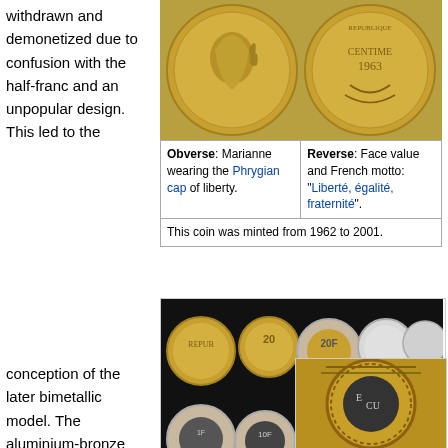withdrawn and demonetized due to confusion with the half-franc and an unpopular design. This led to the
[Figure (photo): Two French centimes coins showing obverse (Marianne with Phrygian cap) and reverse (face value and French motto) sides]
| Obverse: Marianne wearing the Phrygian cap of liberty. | Reverse: Face value and French motto: "Liberté, égalité, fraternité". |
| This coin was minted from 1962 to 2001. |  |
[Figure (photo): Collection of French franc coins from 1960-99 on black background, showing various denominations in gold and silver colors]
French franc coins (1960–99)
conception of the later bimetallic model. The aluminium-bronze pieces continued to circulate until
[Figure (photo): Close-up of a bimetallic French franc coin showing gold outer ring and dark center with ECU text visible]